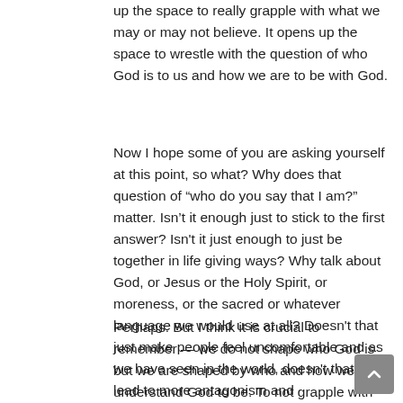up the space to really grapple with what we may or may not believe. It opens up the space to wrestle with the question of who God is to us and how we are to be with God.
Now I hope some of you are asking yourself at this point, so what? Why does that question of “who do you say that I am?” matter. Isn’t it enough just to stick to the first answer? Isn't it just enough to just be together in life giving ways? Why talk about God, or Jesus or the Holy Spirit, or moreness, or the sacred or whatever language we would use at all? Doesn't that just make people feel uncomfortable and as we have seen in the world, doesn't that just lead to more antagonism and misunderstanding?
Perhaps. But I think it is crucial to remember — we do not shape who God is but we are shaped by who and how we understand God to be. To not grapple with the question is a disservice to the truth of who we are and